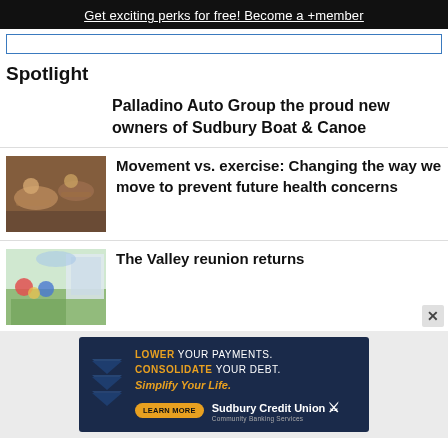Get exciting perks for free! Become a +member
Spotlight
Palladino Auto Group the proud new owners of Sudbury Boat & Canoe
[Figure (photo): People doing yoga or stretching exercises on mats in a gym or studio]
Movement vs. exercise: Changing the way we move to prevent future health concerns
[Figure (photo): Children and adults at an outdoor community reunion event]
The Valley reunion returns
[Figure (other): Advertisement for Sudbury Credit Union: LOWER YOUR PAYMENTS. CONSOLIDATE YOUR DEBT. Simplify Your Life. LEARN MORE. Sudbury Credit Union Community Banking Services]